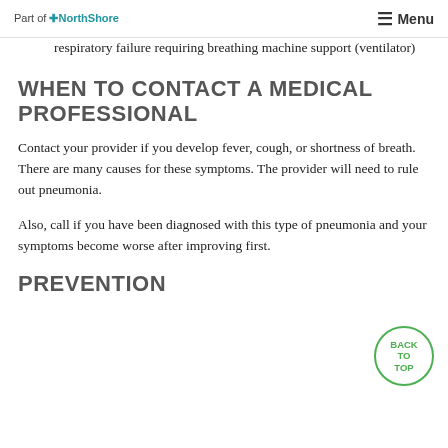Part of NorthShore | Menu
Respiratory failure requiring breathing machine support (ventilator)
WHEN TO CONTACT A MEDICAL PROFESSIONAL
Contact your provider if you develop fever, cough, or shortness of breath. There are many causes for these symptoms. The provider will need to rule out pneumonia.
Also, call if you have been diagnosed with this type of pneumonia and your symptoms become worse after improving first.
PREVENTION